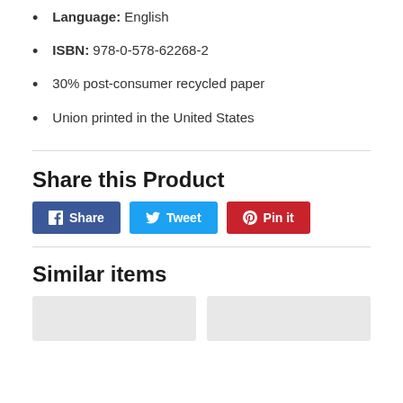Language: English
ISBN: 978-0-578-62268-2
30% post-consumer recycled paper
Union printed in the United States
Share this Product
Share | Tweet | Pin it
Similar items